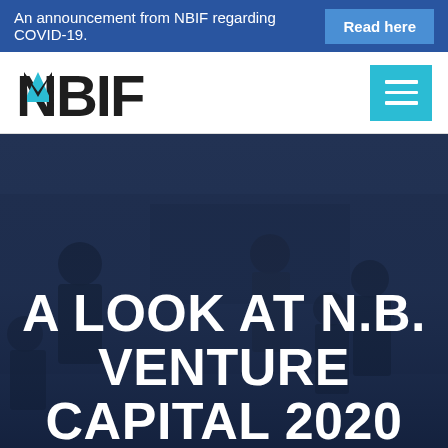An announcement from NBIF regarding COVID-19. Read here
[Figure (logo): NBIF logo with white N and blue triangle accent on dark letter]
[Figure (photo): Dark overlay photo of people in a meeting or event space, with text overlay]
A LOOK AT N.B. VENTURE CAPITAL 2020